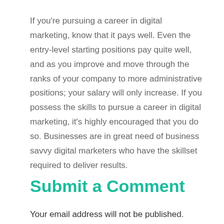If you're pursuing a career in digital marketing, know that it pays well. Even the entry-level starting positions pay quite well, and as you improve and move through the ranks of your company to more administrative positions; your salary will only increase. If you possess the skills to pursue a career in digital marketing, it's highly encouraged that you do so. Businesses are in great need of business savvy digital marketers who have the skillset required to deliver results.
Submit a Comment
Your email address will not be published. Required